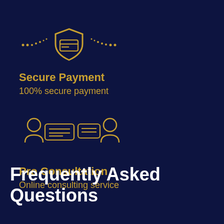[Figure (infographic): Gold shield icon with card lines and dotted line decoration on dark navy background]
Secure Payment
100% secure payment
[Figure (infographic): Gold icon showing two people figures with chat/message boxes between them on dark navy background]
Pro Consultation
Online consulting service
Frequently Asked Questions